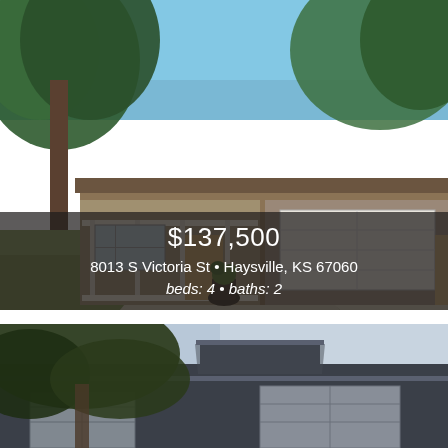[Figure (photo): Exterior photo of a single-story ranch house with large trees, covered porch, attached two-car garage, and wide driveway with a potted plant in the foreground.]
$137,500
8013 S Victoria St • Haysville, KS 67060
beds: 4 • baths: 2
[Figure (photo): Exterior photo of a dark gray/charcoal two-story house with a large tree in the foreground and an attached two-car garage, partially visible.]